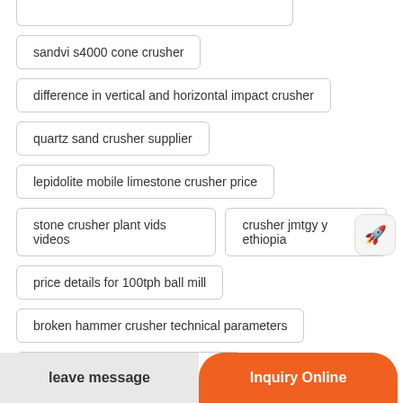sandvi s4000 cone crusher
difference in vertical and horizontal impact crusher
quartz sand crusher supplier
lepidolite mobile limestone crusher price
stone crusher plant vids videos
crusher jmtgy y ethiopia
price details for 100tph ball mill
broken hammer crusher technical parameters
por le rock crusher to make gravel
jaw rock crusher cheap used for sale in california
leave message
Inquiry Online